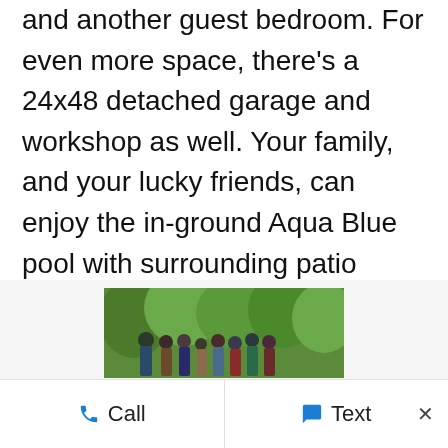and another guest bedroom. For even more space, there's a 24x48 detached garage and workshop as well. Your family, and your lucky friends, can enjoy the in-ground Aqua Blue pool with surrounding patio space and landscaping, plus plenty of lawn to chase the fireflies. Enjoy this serene, natural and private retreat that even has its own campsite and an extra stone patio that sits out into the water to fish from or enjoy the sunset from a different vantage point. This one-of-a-kind home is the perfect place to make memories.
[Figure (photo): Group photo of several people standing outdoors in front of green trees/foliage]
Call   Text